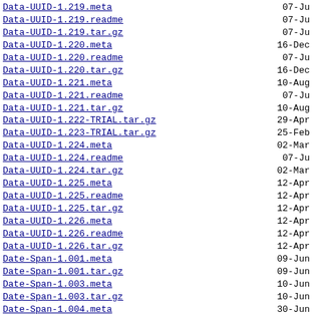Data-UUID-1.219.meta  07-Ju
Data-UUID-1.219.readme  07-Ju
Data-UUID-1.219.tar.gz  07-Ju
Data-UUID-1.220.meta  16-Dec
Data-UUID-1.220.readme  07-Ju
Data-UUID-1.220.tar.gz  16-Dec
Data-UUID-1.221.meta  10-Aug
Data-UUID-1.221.readme  07-Ju
Data-UUID-1.221.tar.gz  10-Aug
Data-UUID-1.222-TRIAL.tar.gz  29-Apr
Data-UUID-1.223-TRIAL.tar.gz  25-Feb
Data-UUID-1.224.meta  02-Mar
Data-UUID-1.224.readme  07-Ju
Data-UUID-1.224.tar.gz  02-Mar
Data-UUID-1.225.meta  12-Apr
Data-UUID-1.225.readme  12-Apr
Data-UUID-1.225.tar.gz  12-Apr
Data-UUID-1.226.meta  12-Apr
Data-UUID-1.226.readme  12-Apr
Data-UUID-1.226.tar.gz  12-Apr
Date-Span-1.001.meta  09-Jun
Date-Span-1.001.tar.gz  09-Jun
Date-Span-1.003.meta  10-Jun
Date-Span-1.003.tar.gz  10-Jun
Date-Span-1.004.meta  30-Jun
Date-Span-1.004.tar.gz  30-Jun
Date-Span-1.10.meta  23-Aug
Date-Span-1.10.readme  23-Aug
Date-Span-1.10.tar.gz  23-Aug
Date-Span-1.12.meta  10-Jan
Date-Span-1.12.readme  10-Jan